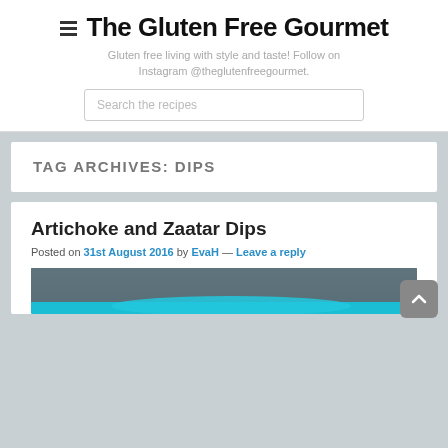The Gluten Free Gourmet
Gluten free living with style and taste! Follow on Instagram @theglutenfreegourmet.
TAG ARCHIVES: DIPS
Artichoke and Zaatar Dips
Posted on 31st August 2016 by EvaH — Leave a reply
[Figure (photo): Food photograph showing dips on a dark wooden surface with teal/blue colored dip visible]